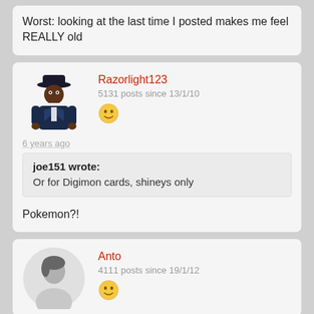Worst: looking at the last time I posted makes me feel REALLY old
Razorlight123
5131 posts since 13/1/10
6 years ago
joe151 wrote:
Or for Digimon cards, shineys only
Pokemon?!
Anto
4111 posts since 19/1/12